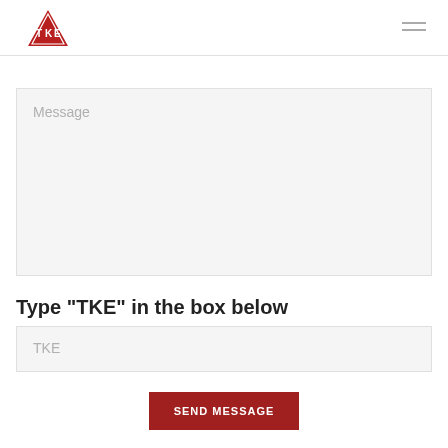TKE logo and navigation
[Figure (logo): TKE red triangle logo with letters T, K, E inside]
Message
Type "TKE" in the box below
TKE
SEND MESSAGE